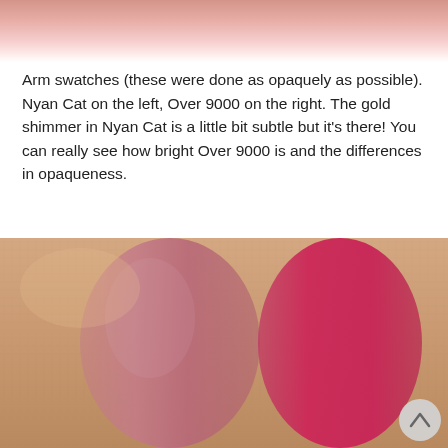[Figure (photo): Top portion of face/lips photo cropped at top of page]
Arm swatches (these were done as opaquely as possible). Nyan Cat on the left, Over 9000 on the right. The gold shimmer in Nyan Cat is a little bit subtle but it's there! You can really see how bright Over 9000 is and the differences in opaqueness.
[Figure (photo): Close-up photo of arm swatches showing two lip color swatches on skin — a dusty rose/mauve on the left (Nyan Cat) and a bright vivid pink-red on the right (Over 9000)]